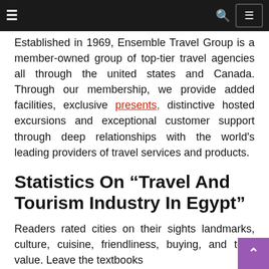Navigation bar with hamburger menu, search icon, and menu button
Established in 1969, Ensemble Travel Group is a member-owned group of top-tier travel agencies all through the united states and Canada. Through our membership, we provide added facilities, exclusive presents, distinctive hosted excursions and exceptional customer support through deep relationships with the world's leading providers of travel services and products.
Statistics On “Travel And Tourism Industry In Egypt”
Readers rated cities on their sights landmarks, culture, cuisine, friendliness, buying, and total value. Leave the textbooks